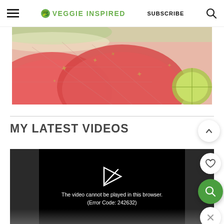VEGGIE INSPIRED | SUBSCRIBE
[Figure (photo): Close-up of watermelon slices with lime wedges and herbs on a light background]
MY LATEST VIDEOS
[Figure (screenshot): Video player showing error message: The video cannot be played in this browser. (Error Code: 242632)]
The video cannot be played in this browser. (Error Code: 242632)